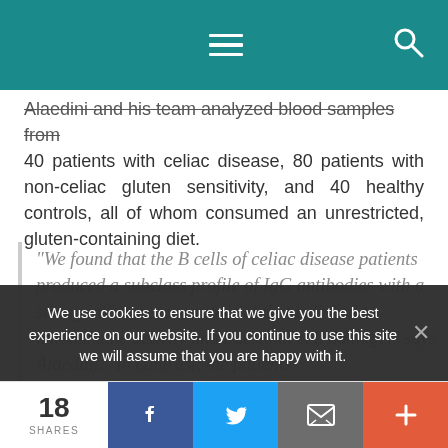Navigation bar with menu and search icons
Alaedini and his team analyzed blood samples from 40 patients with celiac disease, 80 patients with non-celiac gluten sensitivity, and 40 healthy controls, all of whom consumed an unrestricted, gluten-containing diet.
“We found that the B cells of celiac disease patients produced a subclass profile of IgG antibodies with a strong inflammatory potential that is linked to autoimmune activity and intestinal cell damage,” says Alaedini. “In contrast, the patients
We use cookies to ensure that we give you the best experience on our website. If you continue to use this site we will assume that you are happy with it.
18 SHARES | Facebook | Twitter | Email | More